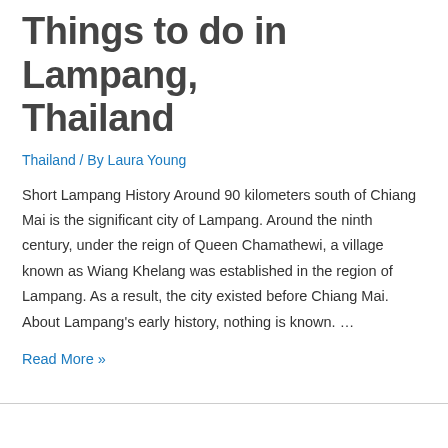Things to do in Lampang, Thailand
Thailand / By Laura Young
Short Lampang History Around 90 kilometers south of Chiang Mai is the significant city of Lampang. Around the ninth century, under the reign of Queen Chamathewi, a village known as Wiang Khelang was established in the region of Lampang. As a result, the city existed before Chiang Mai. About Lampang’s early history, nothing is known. …
Read More »